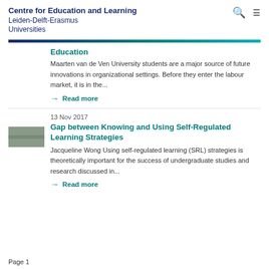Centre for Education and Learning
Leiden-Delft-Erasmus Universities
Education
Maarten van de Ven University students are a major source of future innovations in organizational settings. Before they enter the labour market, it is in the...
→ Read more
[Figure (photo): Small thumbnail image of an article]
13 Nov 2017
Gap between Knowing and Using Self-Regulated Learning Strategies
Jacqueline Wong Using self-regulated learning (SRL) strategies is theoretically important for the success of undergraduate studies and research discussed in...
→ Read more
Page 1